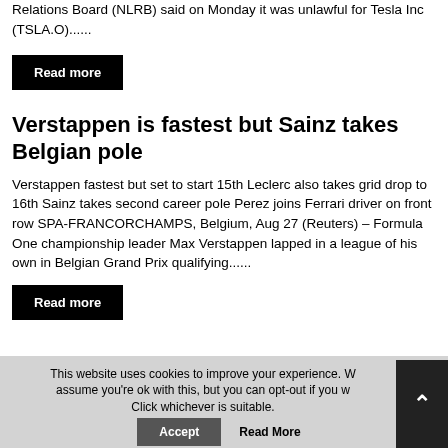Relations Board (NLRB) said on Monday it was unlawful for Tesla Inc (TSLA.O)......
Read more
Verstappen is fastest but Sainz takes Belgian pole
Verstappen fastest but set to start 15th Leclerc also takes grid drop to 16th Sainz takes second career pole Perez joins Ferrari driver on front row SPA-FRANCORCHAMPS, Belgium, Aug 27 (Reuters) – Formula One championship leader Max Verstappen lapped in a league of his own in Belgian Grand Prix qualifying......
Read more
This website uses cookies to improve your experience. W assume you're ok with this, but you can opt-out if you w Click whichever is suitable.
Accept
Read More